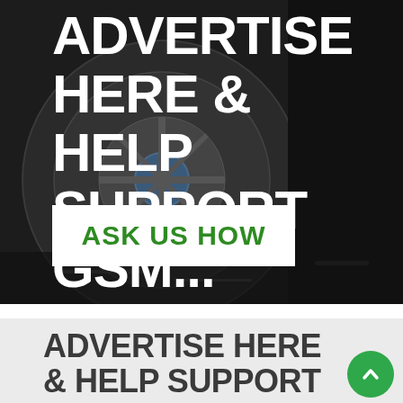[Figure (photo): Dark background photo showing a large industrial wheel or tire with metal components, used as background for advertisement banner]
ADVERTISE HERE & HELP SUPPORT GSM...
ASK US HOW
ADVERTISE HERE & HELP SUPPORT